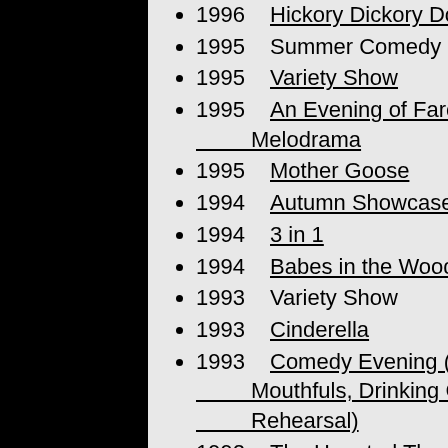1996    Hickory Dickory Dock
1995    Summer Comedy Show
1995    Variety Show
1995    An Evening of Farce & Melodrama
1995    Mother Goose
1994    Autumn Showcase
1994    3 in 1
1994    Babes in the Wood
1993    Variety Show
1993    Cinderella
1993    Comedy Evening (Between Mouthfuls, Drinking Companion & Dress Rehearsal)
1992    The Haunted Through Lounge & Recessed Dining Nook at Farndale Castle
1992    Variety Show
1992    Brush with a Body
1992    The Princess and the Dragon
1992    Winter's Tale
1991    Dunstable Carnival Float - Rocky Horror Show